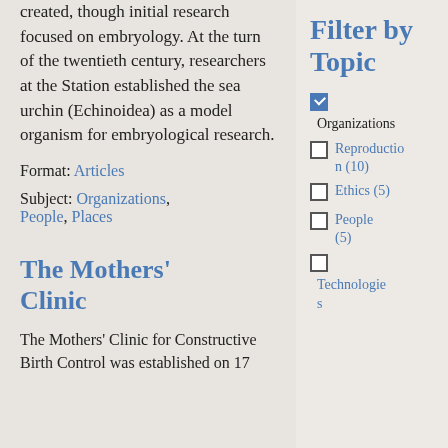created, though initial research focused on embryology. At the turn of the twentieth century, researchers at the Station established the sea urchin (Echinoidea) as a model organism for embryological research.
Format: Articles
Subject: Organizations, People, Places
The Mothers' Clinic
The Mothers' Clinic for Constructive Birth Control was established on 17
Filter by Topic
Organizations (checked)
Reproduction (10)
Ethics (5)
People (5)
Technologies